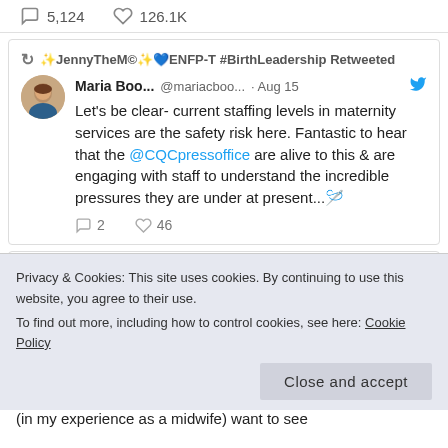5,124  126.1K
✨JennyTheM©✨💙ENFP-T #BirthLeadership Retweeted
Maria Boo... @mariacboo... · Aug 15
Let's be clear- current staffing levels in maternity services are the safety risk here. Fantastic to hear that the @CQCpressoffice are alive to this & are engaging with staff to understand the incredible pressures they are under at present...🪡
2  46
✨JennyTheM©✨💙ENFP-T #BirthLeadership Retweeted
Privacy & Cookies: This site uses cookies. By continuing to use this website, you agree to their use.
To find out more, including how to control cookies, see here: Cookie Policy
Close and accept
(in my experience as a midwife) want to see